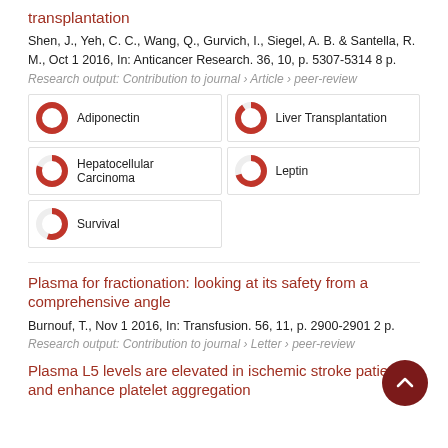transplantation
Shen, J., Yeh, C. C., Wang, Q., Gurvich, I., Siegel, A. B. & Santella, R. M., Oct 1 2016, In: Anticancer Research. 36, 10, p. 5307-5314 8 p.
Research output: Contribution to journal › Article › peer-review
[Figure (infographic): Keyword badges with donut chart icons: Adiponectin (100%), Liver Transplantation (90%), Hepatocellular Carcinoma (80%), Leptin (70%), Survival (55%)]
Plasma for fractionation: looking at its safety from a comprehensive angle
Burnouf, T., Nov 1 2016, In: Transfusion. 56, 11, p. 2900-2901 2 p.
Research output: Contribution to journal › Letter › peer-review
Plasma L5 levels are elevated in ischemic stroke patients and enhance platelet aggregation